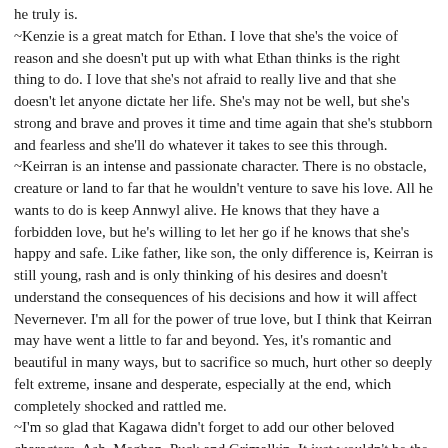he truly is.
~Kenzie is a great match for Ethan. I love that she's the voice of reason and she doesn't put up with what Ethan thinks is the right thing to do. I love that she's not afraid to really live and that she doesn't let anyone dictate her life. She's may not be well, but she's strong and brave and proves it time and time again that she's stubborn and fearless and she'll do whatever it takes to see this through.
~Keirran is an intense and passionate character. There is no obstacle, creature or land to far that he wouldn't venture to save his love. All he wants to do is keep Annwyl alive. He knows that they have a forbidden love, but he's willing to let her go if he knows that she's happy and safe. Like father, like son, the only difference is, Keirran is still young, rash and is only thinking of his desires and doesn't understand the consequences of his decisions and how it will affect Nevernever. I'm all for the power of true love, but I think that Keirran may have went a little to far and beyond. Yes, it's romantic and beautiful in many ways, but to sacrifice so much, hurt other so deeply felt extreme, insane and desperate, especially at the end, which completely shocked and rattled me.
~I'm so glad that Kagawa didn't forget to add our other beloved characters. Ash, Meghan, Puck and Grimalkin. It just wouldn't be the same without them. Oh and I can't forget about Razor, he's still